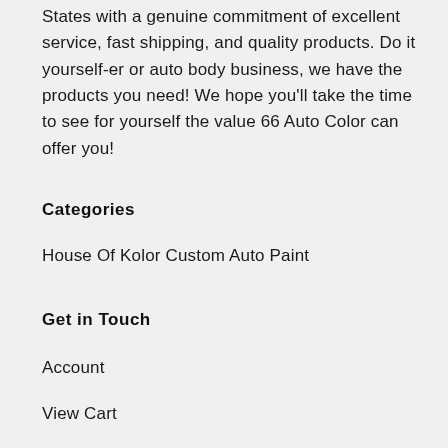States with a genuine commitment of excellent service, fast shipping, and quality products. Do it yourself-er or auto body business, we have the products you need! We hope you'll take the time to see for yourself the value 66 Auto Color can offer you!
Categories
House Of Kolor Custom Auto Paint
Get in Touch
Account
View Cart
Order Status